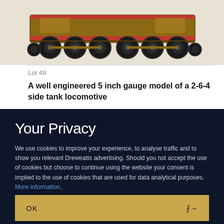[Figure (photo): Undercarriage view of a 5 inch gauge model 2-6-4 side tank locomotive showing wheels, axles and frame detail]
Lot 49
A well engineered 5 inch gauge model of a 2-6-4 side tank locomotive
2,200 GBP
Your Privacy
We use cookies to improve your experience, to analyse traffic and to show you relevant Dreweatts advertising. Should you not accept the use of cookies but choose to continue using the website your consent is implied to the use of cookies that are used for data analytical purposes. More information.
OK